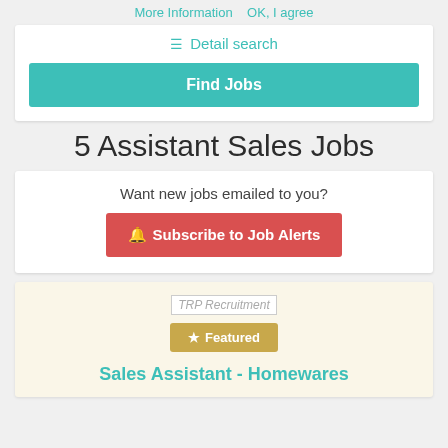More Information   OK, I agree
Detail search
Find Jobs
5 Assistant Sales Jobs
Want new jobs emailed to you?
Subscribe to Job Alerts
[Figure (logo): TRP Recruitment company logo placeholder]
Featured
Sales Assistant - Homewares